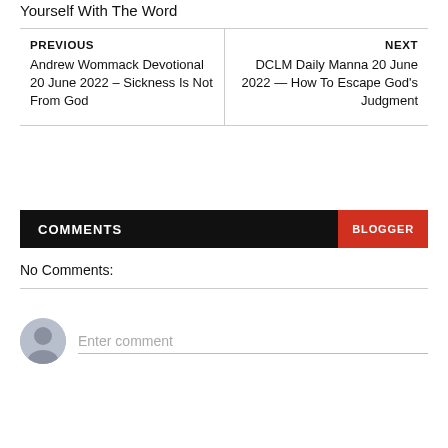Yourself With The Word
PREVIOUS
Andrew Wommack Devotional 20 June 2022 – Sickness Is Not From God
NEXT
DCLM Daily Manna 20 June 2022 — How To Escape God's Judgment
COMMENTS
BLOGGER
No Comments:
Enter comment